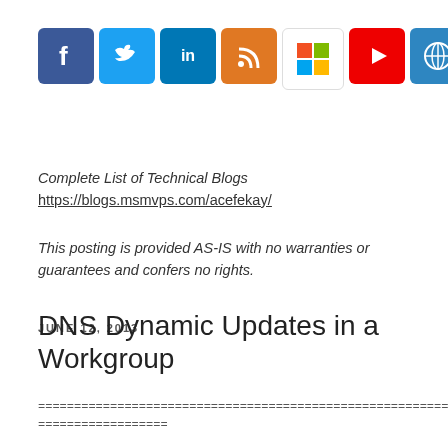[Figure (infographic): Row of 8 social media icon buttons: Facebook (blue, f), Twitter (light blue, bird), LinkedIn (blue, in), RSS/Blog (orange, wave), Microsoft/Windows (multicolor grid), YouTube (red, play), Globe/Web (blue, globe), Windows (blue, grid)]
Complete List of Technical Blogs
https://blogs.msmvps.com/acefekay/
This posting is provided AS-IS with no warranties or guarantees and confers no rights.
JUNE 12, 2013
DNS Dynamic Updates in a Workgroup
================================================================================
==================